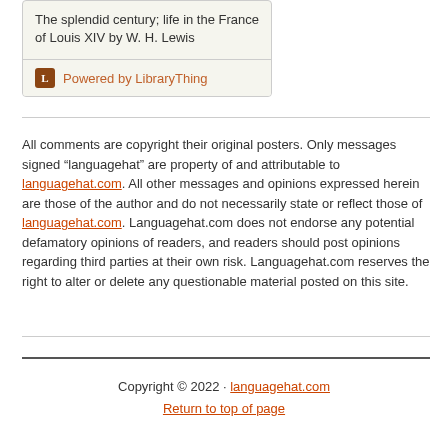[Figure (other): LibraryThing book widget showing 'The splendid century; life in the France of Louis XIV by W. H. Lewis' with 'Powered by LibraryThing' footer]
All comments are copyright their original posters. Only messages signed “languagehat” are property of and attributable to languagehat.com. All other messages and opinions expressed herein are those of the author and do not necessarily state or reflect those of languagehat.com. Languagehat.com does not endorse any potential defamatory opinions of readers, and readers should post opinions regarding third parties at their own risk. Languagehat.com reserves the right to alter or delete any questionable material posted on this site.
Copyright © 2022 · languagehat.com
Return to top of page